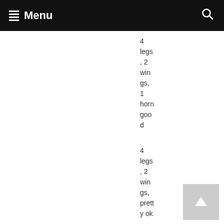Menu
4 legs, 2 wings, 1 horn good
4 legs, 2 wings, pretty ok
4 legs, bad